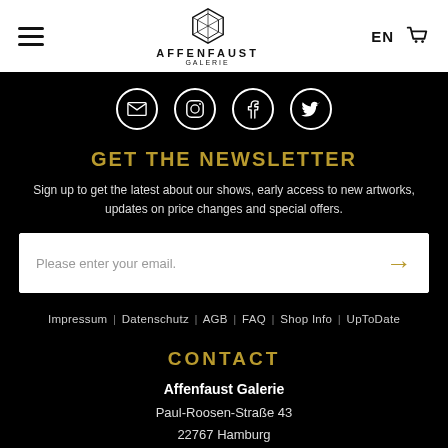[Figure (logo): Affenfaust Galerie logo with stylized hexagonal icon and text]
[Figure (infographic): Social media icons row: email, Instagram, Facebook, Twitter]
GET THE NEWSLETTER
Sign up to get the latest about our shows, early access to new artworks, updates on price changes and special offers.
[Figure (other): Email input field with gold arrow submit button]
Impressum | Datenschutz | AGB | FAQ | Shop Info | UpToDate
CONTACT
Affenfaust Galerie
Paul-Roosen-Straße 43
22767 Hamburg
+49 (0) 176 755 33 188
Contact | Öffnungszeiten